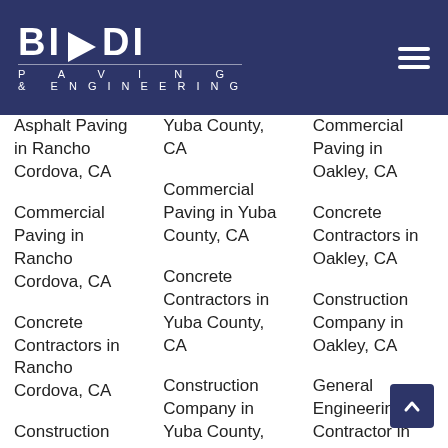[Figure (logo): Biondi Paving & Engineering logo in white text on dark blue background with hamburger menu icon]
Asphalt Paving in Rancho Cordova, CA
Commercial Paving in Rancho Cordova, CA
Concrete Contractors in Rancho Cordova, CA
Construction Company in Rancho Cordova, CA
General Engineering
Yuba County, CA
Commercial Paving in Yuba County, CA
Concrete Contractors in Yuba County, CA
Construction Company in Yuba County, CA
General Engineering Contractor in Yuba County, CA
Grading Contractor in Yuba County, CA
Hardscape
Commercial Paving in Oakley, CA
Concrete Contractors in Oakley, CA
Construction Company in Oakley, CA
General Engineering Contractor in Oakley, CA
Grading Contractor in Oakley, CA
Hardscape Contractors in